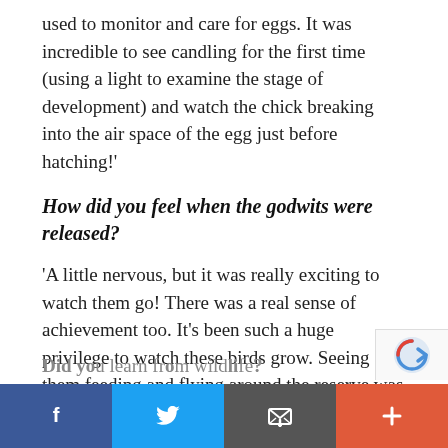used to monitor and care for eggs. It was incredible to see candling for the first time (using a light to examine the stage of development) and watch the chick breaking into the air space of the egg just before hatching!'
How did you feel when the godwits were released?
'A little nervous, but it was really exciting to watch them go! There was a real sense of achievement too. It's been such a huge privilege to watch these birds grow. Seeing them feeding and flying around the reserve was fantastic!'
Did you learn from wildlife?
[Figure (other): Social sharing bar with Facebook, Twitter, email, and plus buttons]